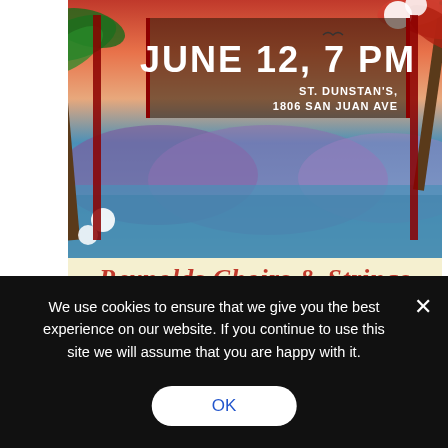[Figure (illustration): Concert poster for Reynolds Choirs & Strings showing tropical scene with palm trees, ocean background, date JUNE 12, 7 PM, venue ST. DUNSTAN'S, 1806 SAN JUAN AVE, and cursive title 'Reynolds Choirs & Strings' at bottom on cream background]
Please be in attendance for all rehearsals this week (band, choir, strings, etc.). We know you are tired but absences affect the entire band, choir, string orchestra! FINISH STRONG, folks!
1.) Band Classes in A & B Block
Monday – Band 9 in A Block.
We use cookies to ensure that we give you the best experience on our website. If you continue to use this site we will assume that you are happy with it.